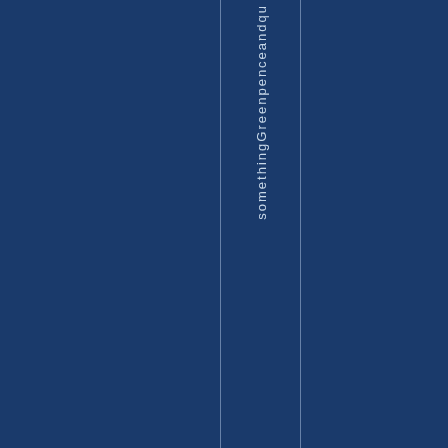[Figure (other): Dark navy blue background page with two thin vertical lines creating a narrow column. Vertical text reading 'somethingGreenpenceandqu' runs downward in the column, rendered in light blue/white color against the dark navy background.]